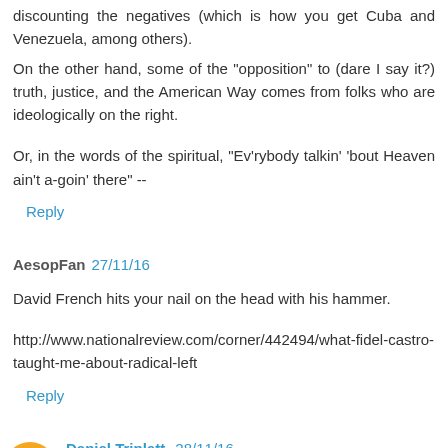discounting the negatives (which is how you get Cuba and Venezuela, among others).
On the other hand, some of the "opposition" to (dare I say it?) truth, justice, and the American Way comes from folks who are ideologically on the right.
Or, in the words of the spiritual, "Ev'rybody talkin' 'bout Heaven ain't a-goin' there" --
Reply
AesopFan 27/11/16
David French hits your nail on the head with his hammer.
http://www.nationalreview.com/corner/442494/what-fidel-castro-taught-me-about-radical-left
Reply
Daniel Triplett 28/11/16
The Left is wrong, and the Right is right.